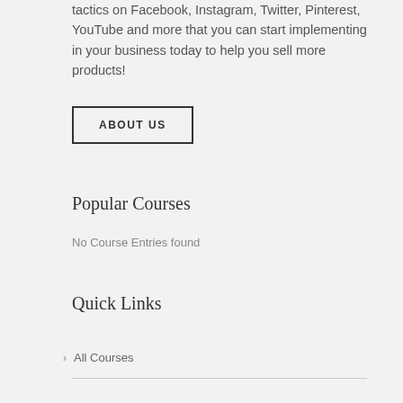tactics on Facebook, Instagram, Twitter, Pinterest, YouTube and more that you can start implementing in your business today to help you sell more products!
ABOUT US
Popular Courses
No Course Entries found
Quick Links
All Courses